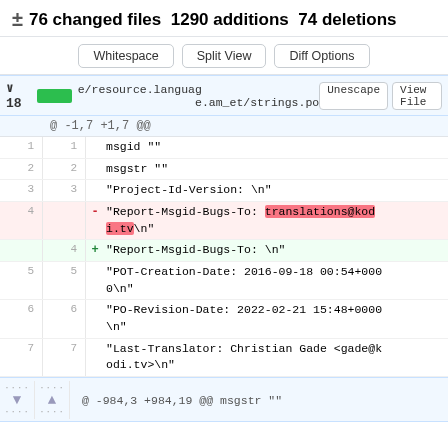± 76 changed files 1290 additions 74 deletions
Whitespace | Split View | Diff Options
v 18 [green bar] e/resource.language.am_et/strings.po  Unescape  View File
@ -1,7 +1,7 @@
1  1  msgid ""
2  2  msgstr ""
3  3  "Project-Id-Version: \n"
4  -  "Report-Msgid-Bugs-To: translations@kodi.tv\n"
4  +  "Report-Msgid-Bugs-To: \n"
5  5  "POT-Creation-Date: 2016-09-18 00:54+0000\n"
6  6  "PO-Revision-Date: 2022-02-21 15:48+0000\n"
7  7  "Last-Translator: Christian Gade <gade@kodi.tv>\n"
@ -984,3 +984,19 @@ msgstr ""